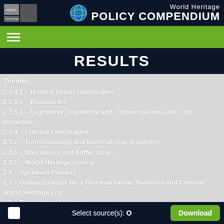World Heritage Policy Compendium
RESULTS
Themes
2.7.4.2 – Historic Urban Landscapes
2.2.6.1 – Boundaries
2.2.5.2 – Legislative, regulatory and contractual measures for protection
2.7.4 – Cultural Landscapes
2.7.2 – Transboundary and transnational properties
2.2.6 – Boundaries and buffer zones
2.2.2 – World Heritage criteria
2.4 – Upstream Process
2.3 – Global Strategy for a Representative, Balanced and Credible World Heritage List
2.2 – Outstanding Universal Value
Select source(s): O   Download